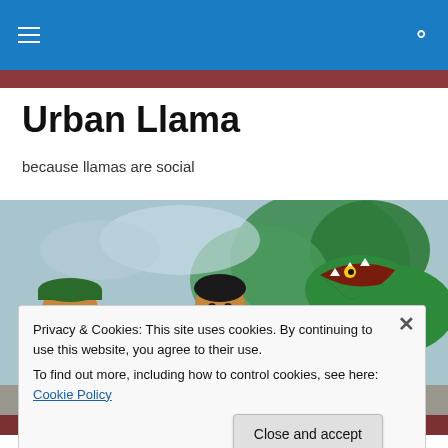Urban Llama — navigation header bar
Urban Llama
because llamas are social
[Figure (photo): A colorful street mural painted on a wall, depicting cartoon-style characters including people and a large green crocodile or dinosaur with trees in the background]
Privacy & Cookies: This site uses cookies. By continuing to use this website, you agree to their use.
To find out more, including how to control cookies, see here: Cookie Policy

Close and accept